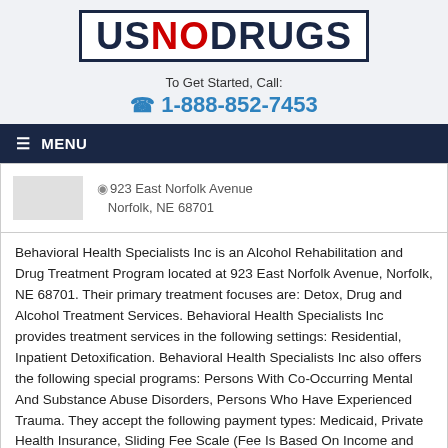[Figure (logo): USNODRUGS logo — US in dark navy, NO in red, DRUGS in dark navy, inside a bordered box]
To Get Started, Call:
1-888-852-7453
≡ MENU
923 East Norfolk Avenue
Norfolk, NE 68701
Behavioral Health Specialists Inc is an Alcohol Rehabilitation and Drug Treatment Program located at 923 East Norfolk Avenue, Norfolk, NE 68701. Their primary treatment focuses are: Detox, Drug and Alcohol Treatment Services. Behavioral Health Specialists Inc provides treatment services in the following settings: Residential, Inpatient Detoxification. Behavioral Health Specialists Inc also offers the following special programs: Persons With Co-Occurring Mental And Substance Abuse Disorders, Persons Who Have Experienced Trauma. They accept the following payment types: Medicaid, Private Health Insurance, Sliding Fee Scale (Fee Is Based On Income and Other Factors).